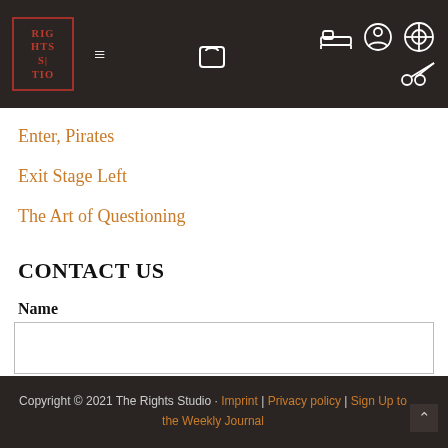Rights Studio — navigation header with logo, hamburger menu, cart icon, and social icons
Enter, Pirates
Exit Stage Left
The Art of Questioning
CONTACT US
Name
First
Copyright © 2021 The Rights Studio · Imprint | Privacy policy | Sign Up to the Weekly Journal